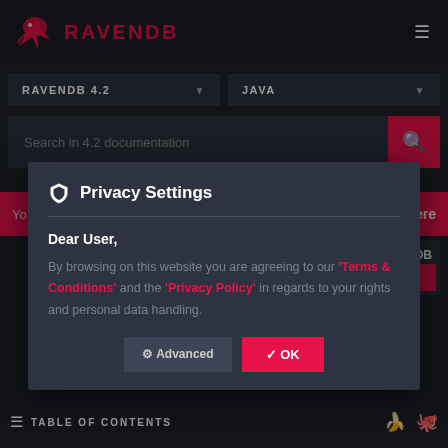RAVENDB
RAVENDB 4.2
JAVA
Search in 4.2 documentation
Yo ... ick here
Privacy Settings
Dear User,
By browsing on this website you are agreeing to our 'Terms & Conditions' and the 'Privacy Policy' in regards to your rights and personal data handling.
Advanced
OK
RavenDB
S NOW
TABLE OF CONTENTS